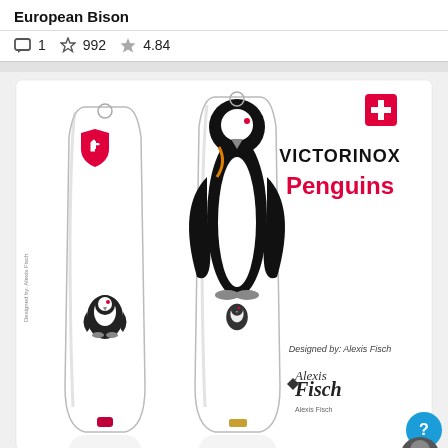European Bison
1   992   4.84
[Figure (photo): Product image of two Victorinox Swiss Army knives (Classic SD model) with a Penguins design. The knives have white handles featuring black ink illustrations of penguins. The left knife shows the back side with a small penguin chick illustration. The right knife shows the front side with a full-size standing penguin illustration and the red Victorinox shield logo. The right side of the image shows the Victorinox brand name in black, 'Penguins' in red, a Swiss cross logo, and 'Designed by: Alexis Fisch' with a handwritten signature/logo below.]